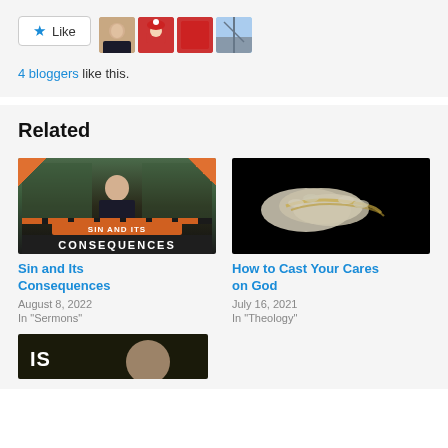[Figure (other): Like button with star icon and 4 blogger avatar thumbnails]
4 bloggers like this.
Related
[Figure (photo): Sin and Its Consequences sermon thumbnail - man in suit with orange overlay text]
Sin and Its Consequences
August 8, 2022
In "Sermons"
[Figure (photo): How to Cast Your Cares on God - clasped hands on black background]
How to Cast Your Cares on God
July 16, 2021
In "Theology"
[Figure (photo): Partial third related post thumbnail with dark background and text starting with IS]